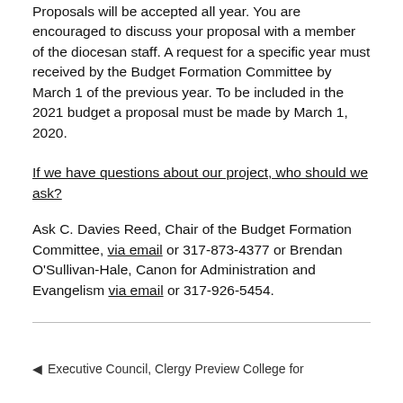Proposals will be accepted all year. You are encouraged to discuss your proposal with a member of the diocesan staff. A request for a specific year must received by the Budget Formation Committee by March 1 of the previous year. To be included in the 2021 budget a proposal must be made by March 1, 2020.
If we have questions about our project, who should we ask?
Ask C. Davies Reed, Chair of the Budget Formation Committee, via email or 317-873-4377 or Brendan O'Sullivan-Hale, Canon for Administration and Evangelism via email or 317-926-5454.
◄ Executive Council, Clergy Preview College for